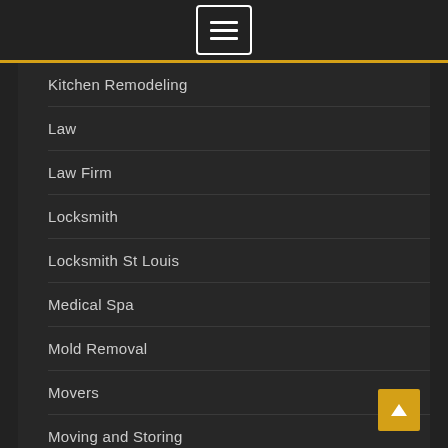Navigation menu button (hamburger icon)
Kitchen Remodeling
Law
Law Firm
Locksmith
Locksmith St Louis
Medical Spa
Mold Removal
Movers
Moving and Storing
Painter
Palm Desert, CA